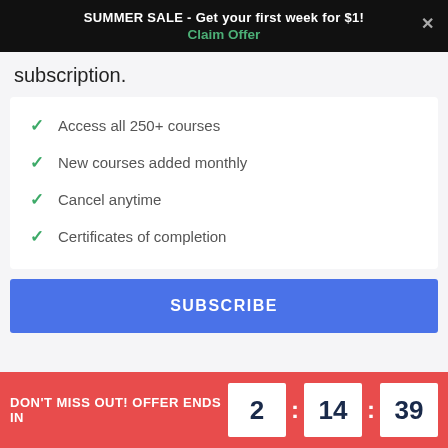SUMMER SALE - Get your first week for $1! Claim Offer
subscription.
Access all 250+ courses
New courses added monthly
Cancel anytime
Certificates of completion
SUBSCRIBE
DON'T MISS OUT! OFFER ENDS IN  2 : 14 : 39